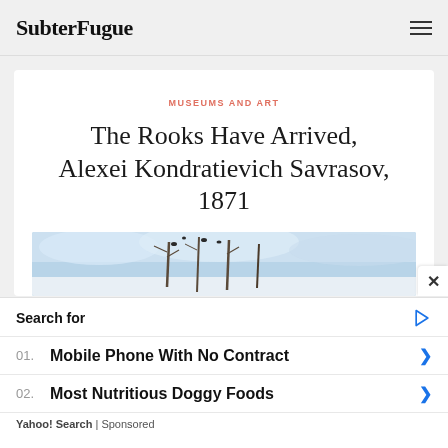SubterFugue
MUSEUMS AND ART
The Rooks Have Arrived, Alexei Kondratievich Savrasov, 1871
[Figure (photo): Top portion of a painting showing blue winter sky with bare trees]
Search for
01. Mobile Phone With No Contract
02. Most Nutritious Doggy Foods
Yahoo! Search | Sponsored